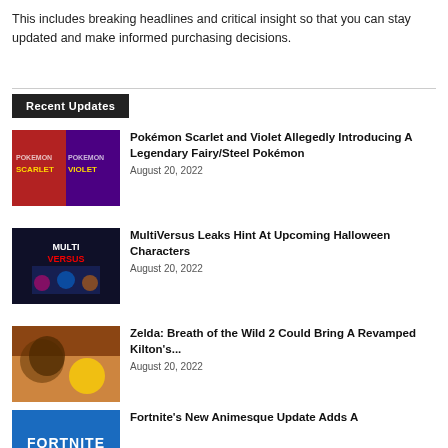This includes breaking headlines and critical insight so that you can stay updated and make informed purchasing decisions.
Recent Updates
[Figure (photo): Pokemon Scarlet and Violet game covers side by side, red and purple backgrounds]
Pokémon Scarlet and Violet Allegedly Introducing A Legendary Fairy/Steel Pokémon
August 20, 2022
[Figure (photo): MultiVersus game artwork with characters on blue/dark background]
MultiVersus Leaks Hint At Upcoming Halloween Characters
August 20, 2022
[Figure (photo): Zelda: Breath of the Wild 2 character with fire effects, brown/gold background]
Zelda: Breath of the Wild 2 Could Bring A Revamped Kilton's...
August 20, 2022
[Figure (photo): Fortnite blue logo background]
Fortnite's New Animesque Update Adds A